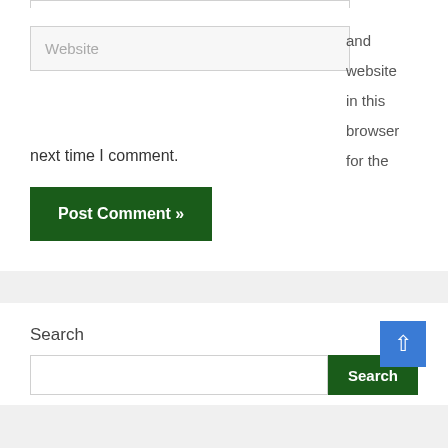[Figure (screenshot): Top border of an input field, partially visible at the top of the page]
[Figure (screenshot): Website input field with placeholder text 'Website']
and website in this browser for the next time I comment.
[Figure (screenshot): Green 'Post Comment »' button]
Search
[Figure (screenshot): Search input field with green Search button and blue back-to-top arrow button]